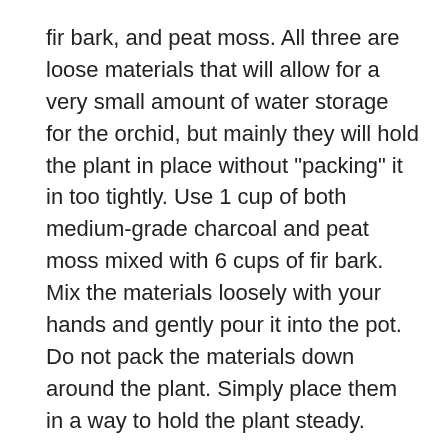fir bark, and peat moss. All three are loose materials that will allow for a very small amount of water storage for the orchid, but mainly they will hold the plant in place without "packing" it in too tightly. Use 1 cup of both medium-grade charcoal and peat moss mixed with 6 cups of fir bark. Mix the materials loosely with your hands and gently pour it into the pot. Do not pack the materials down around the plant. Simply place them in a way to hold the plant steady.